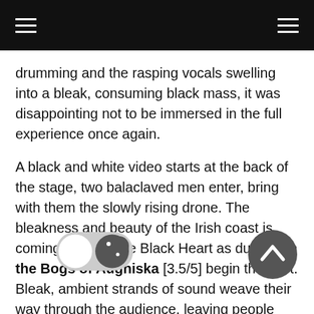≡  ≡
drumming and the rasping vocals swelling into a bleak, consuming black mass, it was disappointing not to be immersed in the full experience once again.
A black and white video starts at the back of the stage, two balaclaved men enter, bring with them the slowly rising drone. The bleakness and beauty of the Irish coast is coming to life in the Black Heart as duo From the Bogs of Aughiska [3.5/5] begin their set. Bleak, ambient strands of sound weave their way through the audience, leaving people gazing at the stage, lost in the melancholy offering. As the set progresses the duo are joined by two more bodies, one taking to the drums while